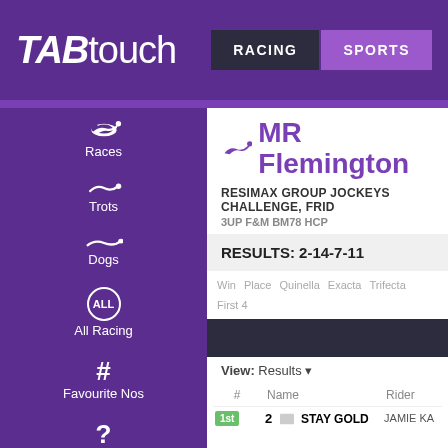TABtouch — RACING | SPORTS
MR Flemington
RESIMAX GROUP JOCKEYS CHALLENGE, FRID
3UP F&M BM78 HCP
RESULTS: 2-14-7-11
Win Place Quinella Exacta Trifecta First 4
View: Results
| # | Name | Rider |
| --- | --- | --- |
| 1st  2  STAY GOLD |  | JAMIE KA |